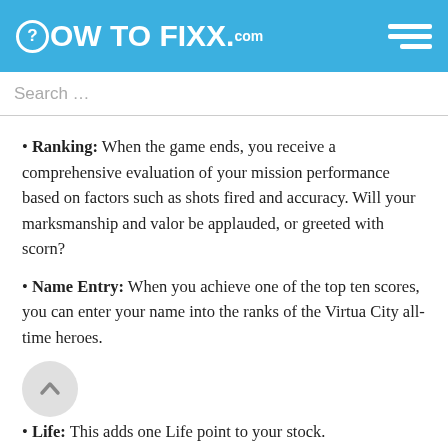HOW TO FIXX.com
Search …
Ranking: When the game ends, you receive a comprehensive evaluation of your mission performance based on factors such as shots fired and accuracy. Will your marksmanship and valor be applauded, or greeted with scorn?
Name Entry: When you achieve one of the top ten scores, you can enter your name into the ranks of the Virtua City all-time heroes.
Life: This adds one Life point to your stock.